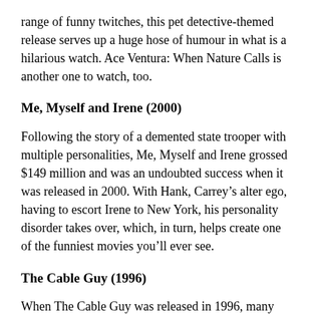range of funny twitches, this pet detective-themed release serves up a huge hose of humour in what is a hilarious watch. Ace Ventura: When Nature Calls is another one to watch, too.
Me, Myself and Irene (2000)
Following the story of a demented state trooper with multiple personalities, Me, Myself and Irene grossed $149 million and was an undoubted success when it was released in 2000. With Hank, Carrey’s alter ego, having to escort Irene to New York, his personality disorder takes over, which, in turn, helps create one of the funniest movies you’ll ever see.
The Cable Guy (1996)
When The Cable Guy was released in 1996, many audiences didn’t quite understand it. Some critics labelled the Ben Stiller-directed movie as too dark and weird, but they couldn’t have been further from the truth. These days, the movie is appreciated for what it is - a cult classic. It didn’t put Ben Stiller off directing in the future either, with